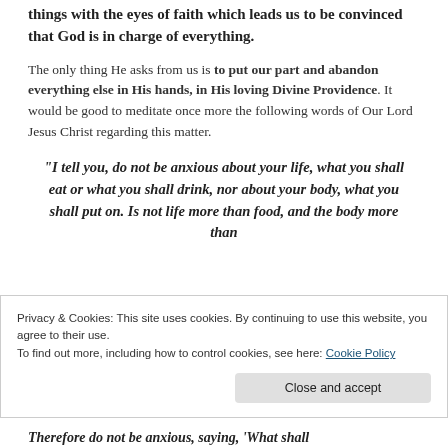things with the eyes of faith which leads us to be convinced that God is in charge of everything.
The only thing He asks from us is to put our part and abandon everything else in His hands, in His loving Divine Providence. It would be good to meditate once more the following words of Our Lord Jesus Christ regarding this matter.
“I tell you, do not be anxious about your life, what you shall eat or what you shall drink, nor about your body, what you shall put on. Is not life more than food, and the body more than
Privacy & Cookies: This site uses cookies. By continuing to use this website, you agree to their use.
To find out more, including how to control cookies, see here: Cookie Policy
Close and accept
Therefore do not be anxious, saying, ‘What shall